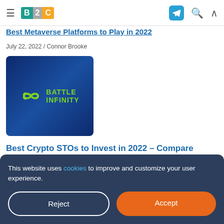≡ B2C [logo] [telegram] [search] [caret]
Best Metaverse Platforms to Play in 2022
July 22, 2022 / Connor Brooke
[Figure (logo): Battle Infinity logo — green infinity symbol and text 'BATTLE INFINITY' on dark blue gradient background]
Best Crypto STOs to Invest in 2022 – Compare
This website uses cookies to improve and customize your user experience.
Reject
Accept